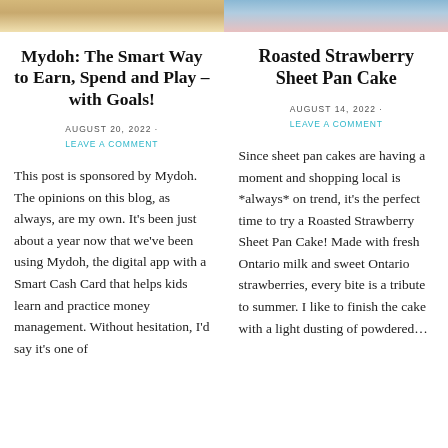[Figure (photo): Top strip of two food/product images side by side]
Mydoh: The Smart Way to Earn, Spend and Play – with Goals!
AUGUST 20, 2022 ·
LEAVE A COMMENT
This post is sponsored by Mydoh. The opinions on this blog, as always, are my own. It's been just about a year now that we've been using Mydoh, the digital app with a Smart Cash Card that helps kids learn and practice money management. Without hesitation, I'd say it's one of
Roasted Strawberry Sheet Pan Cake
AUGUST 14, 2022 ·
LEAVE A COMMENT
Since sheet pan cakes are having a moment and shopping local is *always* on trend, it's the perfect time to try a Roasted Strawberry Sheet Pan Cake! Made with fresh Ontario milk and sweet Ontario strawberries, every bite is a tribute to summer. I like to finish the cake with a light dusting of powdered…